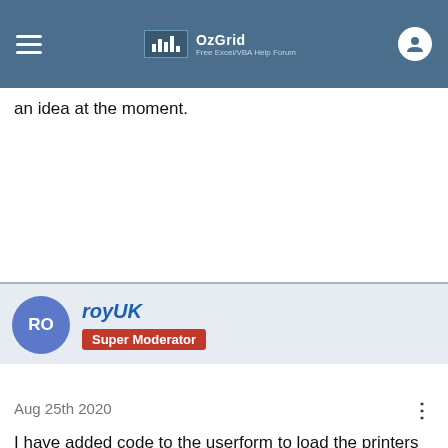OzGrid — Free Excel/VBA Help Forum
an idea at the moment.
royUK
Super Moderator
Aug 25th 2020
I have added code to the userform to load the printers into the combobox
This site uses cookies. By continuing to browse this site, you are
[Figure (screenshot): Walgreens Photo advertisement banner with logo]